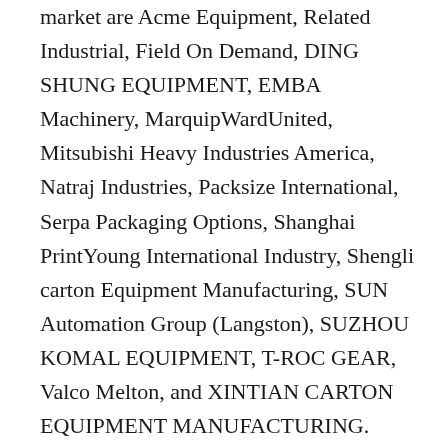market are Acme Equipment, Related Industrial, Field On Demand, DING SHUNG EQUIPMENT, EMBA Machinery, MarquipWardUnited, Mitsubishi Heavy Industries America, Natraj Industries, Packsize International, Serpa Packaging Options, Shanghai PrintYoung International Industry, Shengli carton Equipment Manufacturing, SUN Automation Group (Langston), SUZHOU KOMAL EQUIPMENT, T-ROC GEAR, Valco Melton, and XINTIAN CARTON EQUIPMENT MANUFACTURING. affords 10,610 carton box making machine prices products. Their analysis and evaluation focuses on rising market traits and provides actionable insights to assist companies identify market opportunities and develop efficient strategies to optimize their market positions. Many folding carton producers are working to incorporate